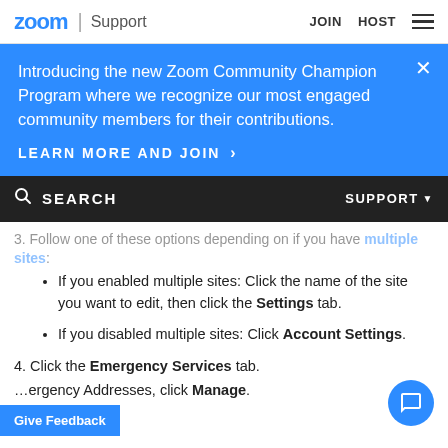zoom | Support   JOIN  HOST
Introducing the new Zoom Community Champion Program where we recognize our most engaged community members for their contributions.
LEARN MORE AND JOIN >
SEARCH   SUPPORT
3. Follow one of these options depending on if you have multiple sites:
If you enabled multiple sites: Click the name of the site you want to edit, then click the Settings tab.
If you disabled multiple sites: Click Account Settings.
4. Click the Emergency Services tab.
...Emergency Addresses, click Manage.
Give Feedback